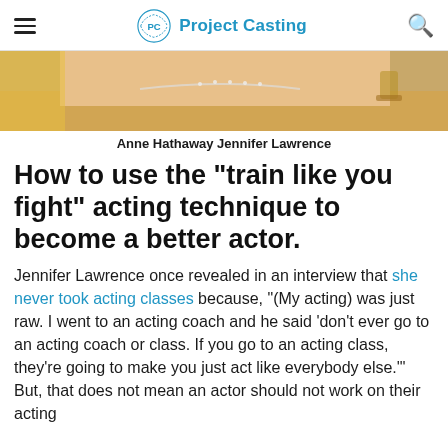PC Project Casting
[Figure (photo): Cropped photo showing a woman's neck and décolletage wearing a diamond necklace and yellow/gold dress, with a decorative bell in the background.]
Anne Hathaway Jennifer Lawrence
How to use the "train like you fight" acting technique to become a better actor.
Jennifer Lawrence once revealed in an interview that she never took acting classes because, "(My acting) was just raw. I went to an acting coach and he said 'don't ever go to an acting coach or class. If you go to an acting class, they're going to make you just act like everybody else.'" But, that does not mean an actor should not work on their acting